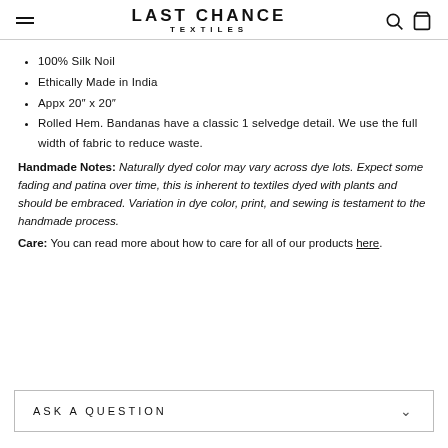LAST CHANCE TEXTILES
100% Silk Noil
Ethically Made in India
Appx 20″ x 20″
Rolled Hem. Bandanas have a classic 1 selvedge detail. We use the full width of fabric to reduce waste.
Handmade Notes: Naturally dyed color may vary across dye lots. Expect some fading and patina over time, this is inherent to textiles dyed with plants and should be embraced. Variation in dye color, print, and sewing is testament to the handmade process.
Care: You can read more about how to care for all of our products here.
ASK A QUESTION